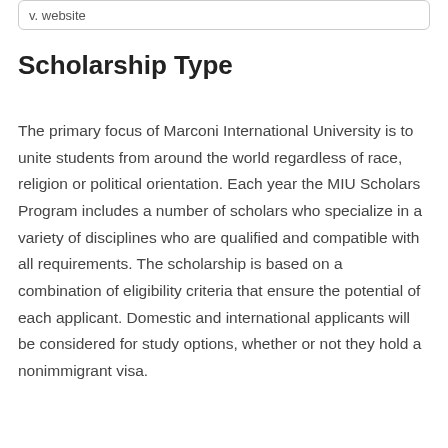v. website
Scholarship Type
The primary focus of Marconi International University is to unite students from around the world regardless of race, religion or political orientation. Each year the MIU Scholars Program includes a number of scholars who specialize in a variety of disciplines who are qualified and compatible with all requirements. The scholarship is based on a combination of eligibility criteria that ensure the potential of each applicant. Domestic and international applicants will be considered for study options, whether or not they hold a nonimmigrant visa.